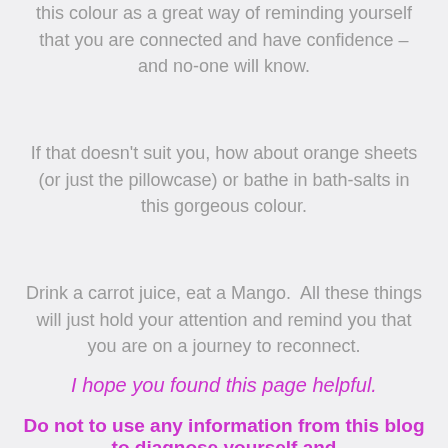this colour as a great way of reminding yourself that you are connected and have confidence – and no-one will know.
If that doesn't suit you, how about orange sheets (or just the pillowcase) or bathe in bath-salts in this gorgeous colour.
Drink a carrot juice, eat a Mango.  All these things will just hold your attention and remind you that you are on a journey to reconnect.
I hope you found this page helpful.
Do not to use any information from this blog to diagnose yourself and